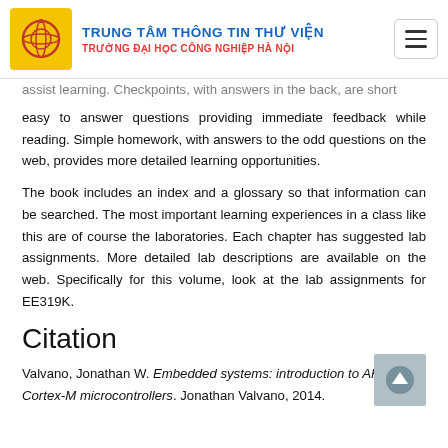TRUNG TÂM THÔNG TIN THƯ VIỆN | TRƯỜNG ĐẠI HỌC CÔNG NGHIỆP HÀ NỘI
assist learning. Checkpoints, with answers in the back, are short easy to answer questions providing immediate feedback while reading. Simple homework, with answers to the odd questions on the web, provides more detailed learning opportunities.
The book includes an index and a glossary so that information can be searched. The most important learning experiences in a class like this are of course the laboratories. Each chapter has suggested lab assignments. More detailed lab descriptions are available on the web. Specifically for this volume, look at the lab assignments for EE319K.
Citation
Valvano, Jonathan W. Embedded systems: introduction to ARM Cortex-M microcontrollers. Jonathan Valvano, 2014.